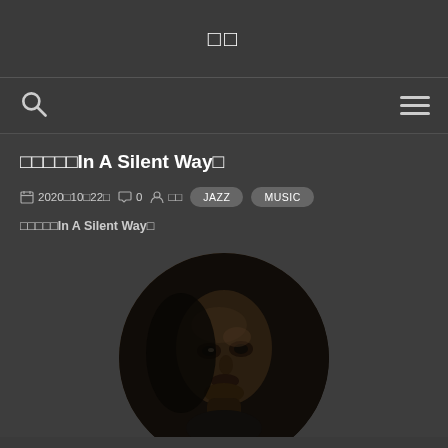□□
□□□□□In A Silent Way□
2020□10□22□  0  □□  JAZZ  MUSIC
□□□□□In A Silent Way□
[Figure (photo): Circular cropped portrait photo of a person (appears to be Miles Davis) with dark skin, dramatic lighting, on a dark background]